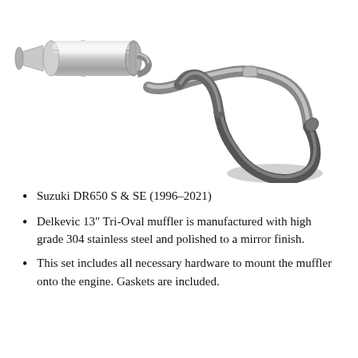[Figure (photo): Photograph of a Delkevic 13-inch Tri-Oval stainless steel exhaust muffler and pipe system for Suzuki DR650, shown on white background. The polished muffler is on the left, connected to a curved exhaust pipe that sweeps to the right.]
Suzuki DR650 S & SE (1996-2021)
Delkevic 13″ Tri-Oval muffler is manufactured with high grade 304 stainless steel and polished to a mirror finish.
This set includes all necessary hardware to mount the muffler onto the engine. Gaskets are included.